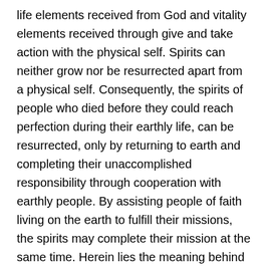life elements received from God and vitality elements received through give and take action with the physical self. Spirits can neither grow nor be resurrected apart from a physical self. Consequently, the spirits of people who died before they could reach perfection during their earthly life, can be resurrected, only by returning to earth and completing their unaccomplished responsibility through cooperation with earthly people. By assisting people of faith living on the earth to fulfill their missions, the spirits may complete their mission at the same time. Herein lies the meaning behind the verse, which foretold that in the Last Days the Lord would come “with His holy myriads.” (Jude 1.14)
    How do spirits help people on earth fulfill the Will of God? When people become receptive to spirits